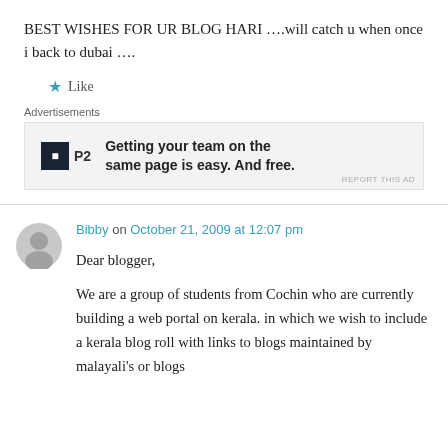BEST WISHES FOR UR BLOG HARI ….will catch u when once i back to dubai ….
★ Like
Advertisements
[Figure (other): P2 advertisement: Getting your team on the same page is easy. And free.]
Bibby on October 21, 2009 at 12:07 pm
Dear blogger,

We are a group of students from Cochin who are currently building a web portal on kerala. in which we wish to include a kerala blog roll with links to blogs maintained by malayali's or blogs